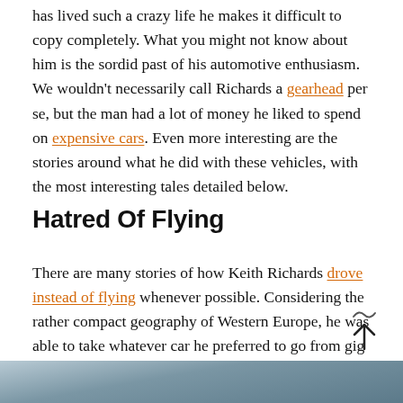has lived such a crazy life he makes it difficult to copy completely. What you might not know about him is the sordid past of his automotive enthusiasm. We wouldn't necessarily call Richards a gearhead per se, but the man had a lot of money he liked to spend on expensive cars. Even more interesting are the stories around what he did with these vehicles, with the most interesting tales detailed below.
Hatred Of Flying
There are many stories of how Keith Richards drove instead of flying whenever possible. Considering the rather compact geography of Western Europe, he was able to take whatever car he preferred to go from gig to gig, rather than hopping in an airplane like the rest of the entourage.
[Figure (photo): Bottom strip of a grey/blue sky or road photo, partially visible at the bottom of the page]